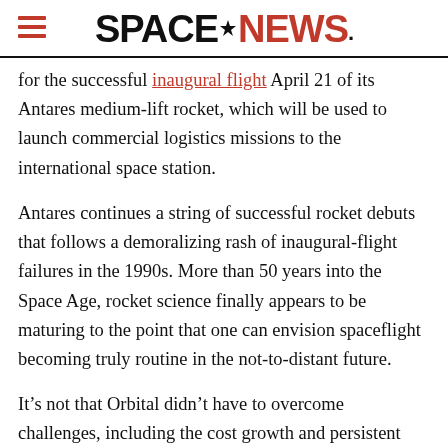SPACENEWS
for the successful inaugural flight April 21 of its Antares medium-lift rocket, which will be used to launch commercial logistics missions to the international space station.
Antares continues a string of successful rocket debuts that follows a demoralizing rash of inaugural-flight failures in the 1990s. More than 50 years into the Space Age, rocket science finally appears to be maturing to the point that one can envision spaceflight becoming truly routine in the not-to-distant future.
It’s not that Orbital didn’t have to overcome challenges, including the cost growth and persistent delays that are typical of large space hardware development programs. Orbital, which has had its rocket-related struggles in